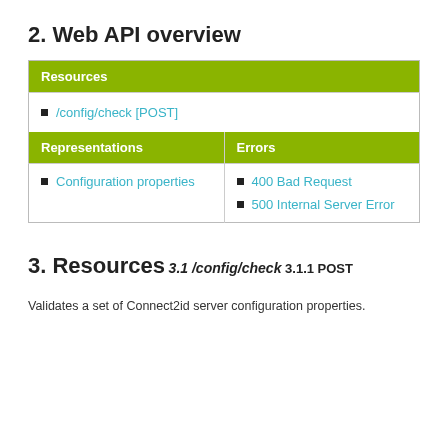2. Web API overview
| Resources |
| --- |
| /config/check [POST] |
| Representations | Errors |
| --- | --- |
| Configuration properties | 400 Bad Request
500 Internal Server Error |
3. Resources
3.1 /config/check
3.1.1 POST
Validates a set of Connect2id server configuration properties.